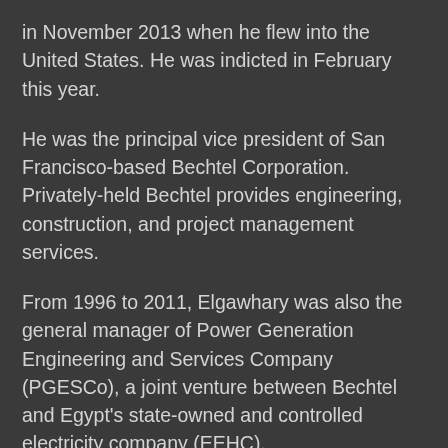in November 2013 when he flew into the United States. He was indicted in February this year.
He was the principal vice president of San Francisco-based Bechtel Corporation. Privately-held Bechtel provides engineering, construction, and project management services.
From 1996 to 2011, Elgawhary was also the general manager of Power Generation Engineering and Services Company (PGESCo), a joint venture between Bechtel and Egypt's state-owned and controlled electricity company (EEHC).
PGESCo helped EEHC pick subcontractors by soliciting bids and awarding contracts for power projects.
Elgawhary took a total of $5.2 million from the…